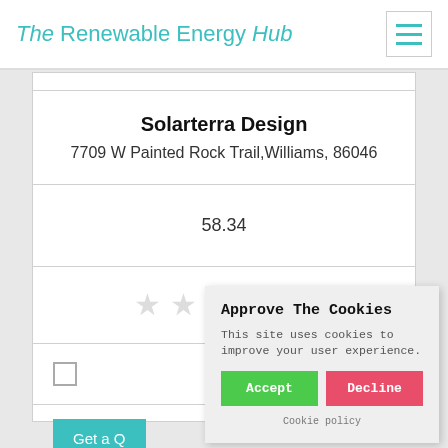The Renewable Energy Hub
Solarterra Design
7709 W Painted Rock Trail,Williams, 86046
58.34
[Figure (other): Five empty star rating icons (all grey/unfilled)]
[Figure (other): Checkbox (unchecked)]
Get a Q...
Approve The Cookies
This site uses cookies to improve your user experience.
Accept
Decline
Cookie policy